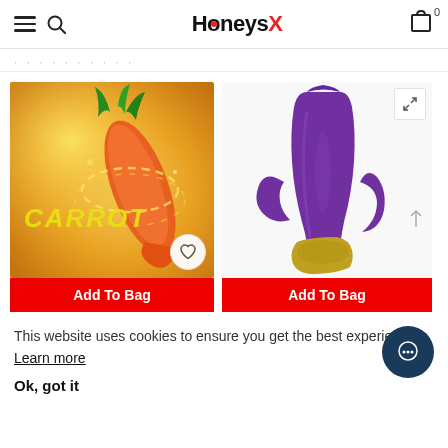HoneysX
[Figure (photo): Product image: carrot-shaped vibrator on golden-yellow background with 'CARROT' text and swirling light effect. Heart/wishlist button in bottom right corner.]
Add To Bag
[Figure (photo): Product image: purple rabbit/dual-stimulation vibrator on white background. Expand icon in top right corner, arrow icon on right side.]
Add To Bag
This website uses cookies to ensure you get the best experience. Learn more
Ok, got it